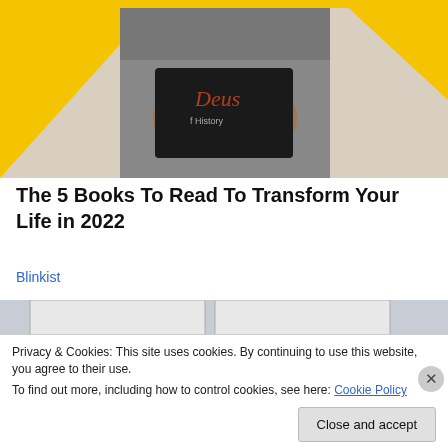[Figure (photo): Person in gray shirt holding a dark book with 'Deus' and 'History' visible on cover, against yellow and beige background]
The 5 Books To Read To Transform Your Life in 2022
Blinkist
[Figure (photo): Social Security Administration building exterior with large sign reading 'SOCIAL SECURITY ADMINISTRATION' flanked by red bollards]
Privacy & Cookies: This site uses cookies. By continuing to use this website, you agree to their use.
To find out more, including how to control cookies, see here: Cookie Policy
Close and accept